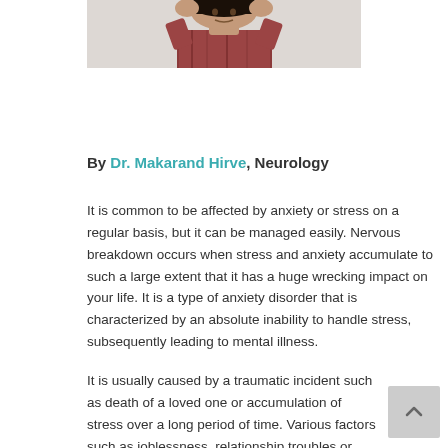[Figure (photo): Woman with dark hair holding her head with both hands, appearing stressed or anxious, wearing a plaid shirt. Image is cropped showing upper body against a light background.]
By Dr. Makarand Hirve, Neurology
It is common to be affected by anxiety or stress on a regular basis, but it can be managed easily. Nervous breakdown occurs when stress and anxiety accumulate to such a large extent that it has a huge wrecking impact on your life. It is a type of anxiety disorder that is characterized by an absolute inability to handle stress, subsequently leading to mental illness.
It is usually caused by a traumatic incident such as death of a loved one or accumulation of stress over a long period of time. Various factors such as joblessness, relationship troubles or